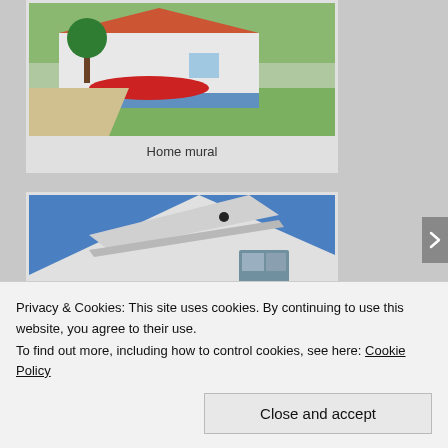[Figure (photo): Photo of a house with a mural painted on the exterior, showing a boat design. Green lawn and trees visible.]
Home mural
[Figure (photo): Photo taken from below looking up at the roofline and upper floors of a white/light-colored multi-story building against a blue sky.]
Privacy & Cookies: This site uses cookies. By continuing to use this website, you agree to their use.
To find out more, including how to control cookies, see here: Cookie Policy
Close and accept